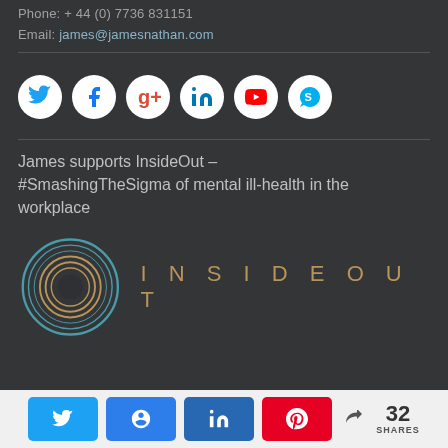Phone: + 44 (0) 7736 831151
Email: james@jamesnathan.com
[Figure (other): Row of six circular social media icons: Twitter, Facebook, Google+, LinkedIn, YouTube, Skype]
James supports InsideOut – #SmashingTheSigma of mental ill-health in the workplace
[Figure (logo): InsideOut logo — concentric circle graphic in teal and gold on left, text INSIDEOUT in spaced gold/teal letters on right]
< 32 SHARES
[Figure (other): Share bar with Twitter, Koo, LinkedIn, Pinterest buttons and share count of 32]